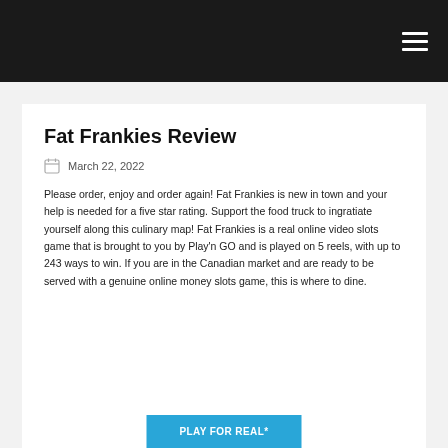Fat Frankies Review
March 22, 2022
Please order, enjoy and order again! Fat Frankies is new in town and your help is needed for a five star rating. Support the food truck to ingratiate yourself along this culinary map! Fat Frankies is a real online video slots game that is brought to you by Play'n GO and is played on 5 reels, with up to 243 ways to win. If you are in the Canadian market and are ready to be served with a genuine online money slots game, this is where to dine.
PLAY FOR REAL*